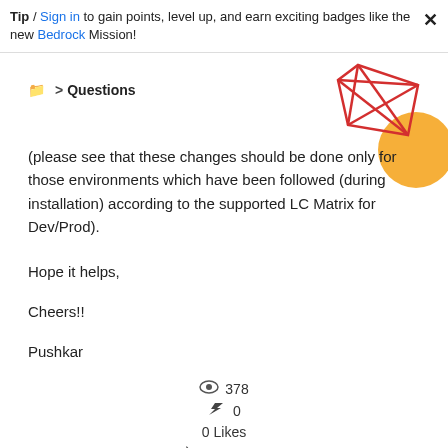Tip / Sign in to gain points, level up, and earn exciting badges like the new Bedrock Mission!
📁 > Questions
[Figure (illustration): Decorative geometric red line art with orange circle in top-right corner]
(please see that these changes should be done only for those environments which have been followed (during installation) according to the supported LC Matrix for Dev/Prod).
Hope it helps,
Cheers!!
Pushkar
👁 378
↩ 0
0 Likes
🔤 Translate